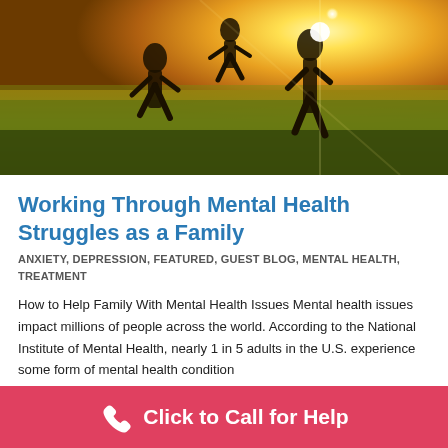[Figure (photo): Silhouettes of family members running through a sunlit golden grass field, backlit by bright sunlight creating a warm glow]
Working Through Mental Health Struggles as a Family
ANXIETY, DEPRESSION, FEATURED, GUEST BLOG, MENTAL HEALTH, TREATMENT
How to Help Family With Mental Health Issues Mental health issues impact millions of people across the world. According to the National Institute of Mental Health, nearly 1 in 5 adults in the U.S. experience some form of mental health condition…
Click to Call for Help